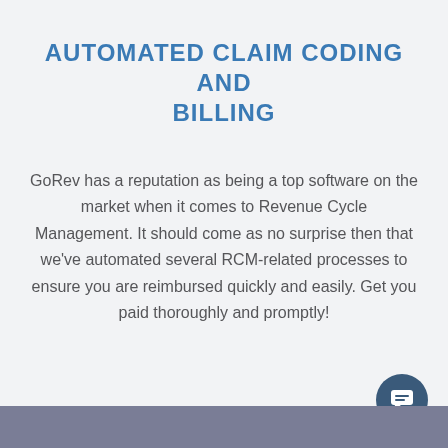AUTOMATED CLAIM CODING AND BILLING
GoRev has a reputation as being a top software on the market when it comes to Revenue Cycle Management. It should come as no surprise then that we've automated several RCM-related processes to ensure you are reimbursed quickly and easily. Get you paid thoroughly and promptly!